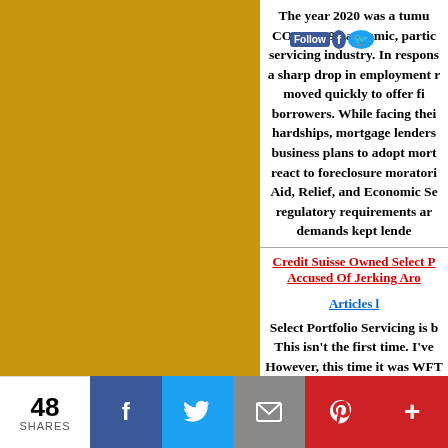The year 2020 was a tumultuous one for the mortgage servicing industry due to the COVID-19 pandemic, particularly for the mortgage servicing industry. In response to a sharp drop in employment moved quickly to offer forbearance to borrowers. While facing their own financial hardships, mortgage lenders had to update business plans to adopt mortgage servicing, react to foreclosure moratoriums, Coronavirus Aid, Relief, and Economic Security Act, regulatory requirements and unprecedented demands kept lenders...
Credit Suisse Owned Select Portfolio Servicing Accused Of Jerking Around...
Articles...
Select Portfolio Servicing is being accused. This isn't the first time. I've ... However, this time it was WFT... who busted them. Ulrich also... As a result, he reach...
48 SHARES